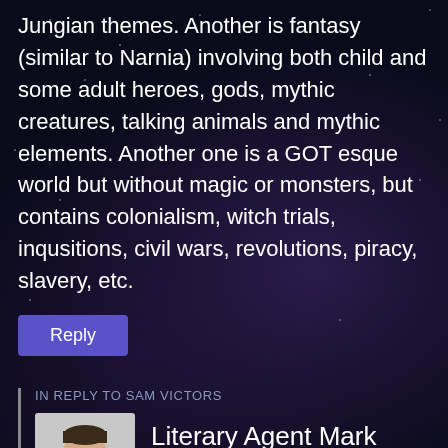Jungian themes. Another is fantasy (similar to Narnia) involving both child and some adult heroes, gods, mythic creatures, talking animals and mythic elements. Another one is a GOT esque world but without magic or monsters, but contains colonialism, witch trials, inqusitions, civil wars, revolutions, piracy, slavery, etc.
Reply
IN REPLY TO SAM VICTORS
[Figure (photo): Profile photo of Literary Agent Mark Gottlieb, a man in a suit with arms crossed]
Literary Agent Mark Gottlieb
July 30, 2017 at 7:41 am